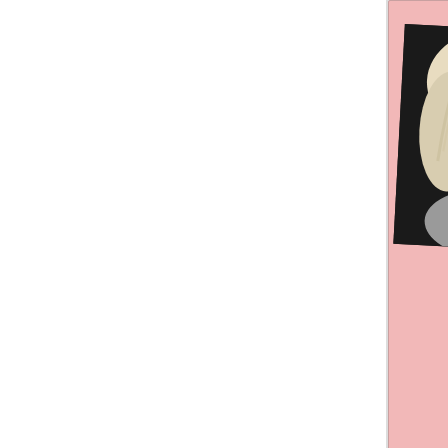[Figure (photo): Vintage newspaper advertisement on pink background. Shows a black-and-white portrait photo of a young blonde woman on the left. Text on the right reads: 'Miss Bett' (name partially cut off), 'NOW ASSOCIATED W' (cut off), 'The Orchid Roo' (cut off), 'PUTNAM PIK' (cut off), 'ROUTE 44', 'SMITHFIELD', '231-'. July 1972 advertisement.]
July,1972
[Figure (photo): Vintage newspaper advertisement on beige/tan background with black border. Contains a circular logo/emblem on the left with a figure image. Text reads: 'Smithfield Community', 'MENTAL', 'HEALTH', 'CLINIC', 'Call 231-', 'Now Serving', 'SMITHFIELD'. Partially visible, bottom cut off.]